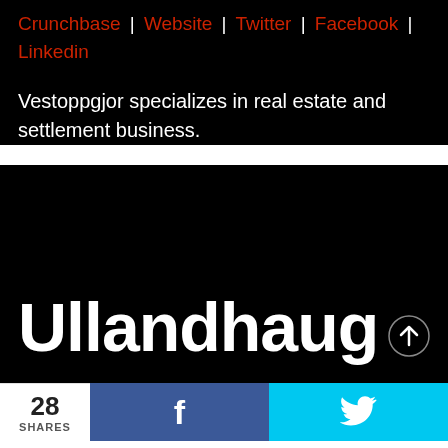Crunchbase | Website | Twitter | Facebook | Linkedin
Vestoppgjor specializes in real estate and settlement business.
[Figure (screenshot): Black background section showing the text 'Ullandhaug' in large bold white font, with an upward arrow icon in the bottom right corner.]
28 SHARES